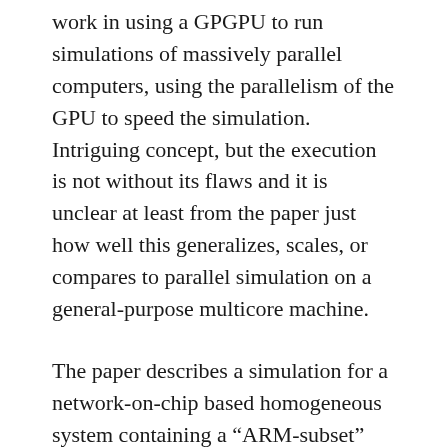work in using a GPGPU to run simulations of massively parallel computers, using the parallelism of the GPU to speed the simulation. Intriguing concept, but the execution is not without its flaws and it is unclear at least from the paper just how well this generalizes, scales, or compares to parallel simulation on a general-purpose multicore machine.
The paper describes a simulation for a network-on-chip based homogeneous system containing a “ARM-subset” ISS instances with local instruction and data caches, some local RAM, and also some shared RAM. Each core runs its own local software load, there is no SMP operating system. All communication